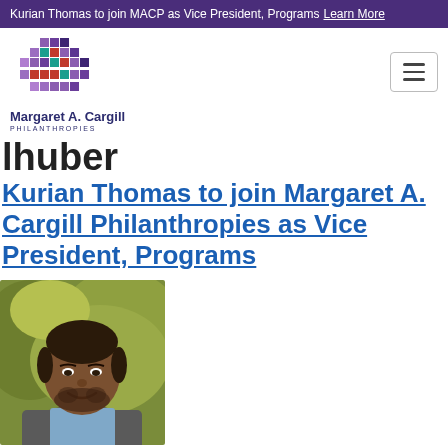Kurian Thomas to join MACP as Vice President, Programs Learn More
[Figure (logo): Margaret A. Cargill Philanthropies logo with colorful diamond/chevron pattern in purple, teal, and red]
lhuber
Kurian Thomas to join Margaret A. Cargill Philanthropies as Vice President, Programs
[Figure (photo): Portrait photo of Kurian Thomas, a man smiling, wearing a grey blazer and blue shirt, outdoors with green foliage in background]
Margaret A. Cargill Philanthropies (MACP)